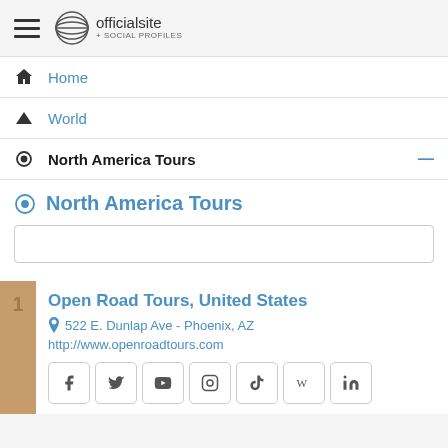officialsite + SOCIAL PROFILES
Home
World
North America Tours
North America Tours
Open Road Tours, United States
522 E. Dunlap Ave - Phoenix, AZ
http://www.openroadtours.com